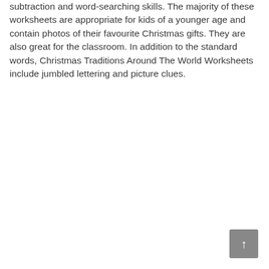subtraction and word-searching skills. The majority of these worksheets are appropriate for kids of a younger age and contain photos of their favourite Christmas gifts. They are also great for the classroom. In addition to the standard words, Christmas Traditions Around The World Worksheets include jumbled lettering and picture clues.